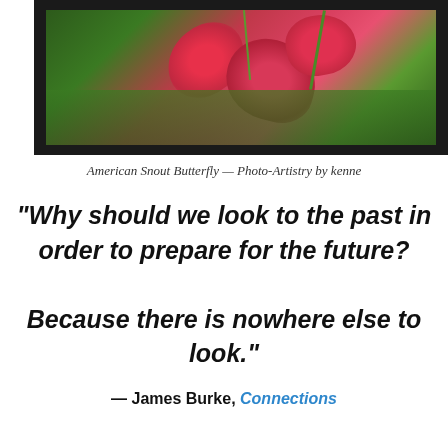[Figure (photo): Close-up photo of pink/red flowering blooms (hackberry flowers) on green foliage background, with a dark frame/border. American Snout Butterfly photo-artistry image.]
American Snout Butterfly — Photo-Artistry by kenne
“Why should we look to the past in order to prepare for the future?

Because there is nowhere else to look.”
— James Burke, Connections